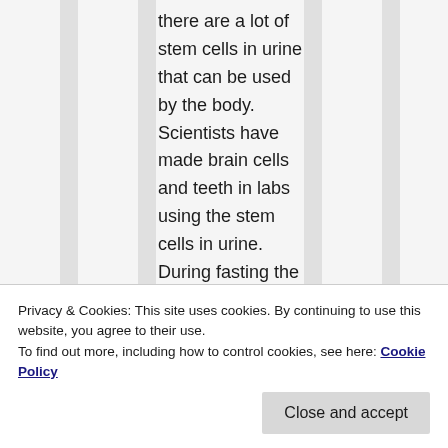there are a lot of stem cells in urine that can be used by the body. Scientists have made brain cells and teeth in labs using the stem cells in urine. During fasting the stem cell production increases however a lot of the stem cells end up in urine because your body
Privacy & Cookies: This site uses cookies. By continuing to use this website, you agree to their use.
To find out more, including how to control cookies, see here: Cookie Policy
stem cells and